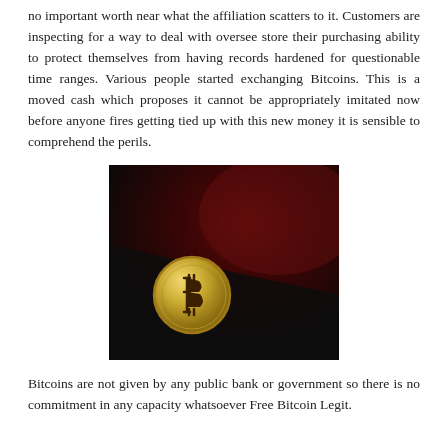no important worth near what the affiliation scatters to it. Customers are inspecting for a way to deal with oversee store their purchasing ability to protect themselves from having records hardened for questionable time ranges. Various people started exchanging Bitcoins. This is a moved cash which proposes it cannot be appropriately imitated now before anyone fires getting tied up with this new money it is sensible to comprehend the perils.
[Figure (photo): A close-up photograph of a gold Bitcoin coin on a dark, blurred red and black background.]
Bitcoins are not given by any public bank or government so there is no commitment in any capacity whatsoever Free Bitcoin Legit.